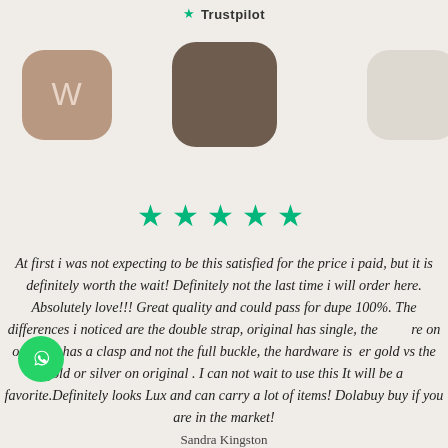Trustpilot
[Figure (illustration): Three rounded square avatar icons in a row: first is tan/brown with letter W, second is dark brown blank, third is light gray/white blank]
[Figure (infographic): Five green five-pointed stars rating]
At first i was not expecting to be this satisfied for the price i paid, but it is definitely worth the wait! Definitely not the last time i will order here. Absolutely love!!! Great quality and could pass for dupe 100%. The differences i noticed are the double strap, original has single, the ware on one side has a clasp and not the full buckle, the hardware is er gold vs the gold or silver on original . I can not wait to use this It will be a favorite.Definitely looks Lux and can carry a lot of items! Dolabuy buy if you are in the market!
Sandra Kingston